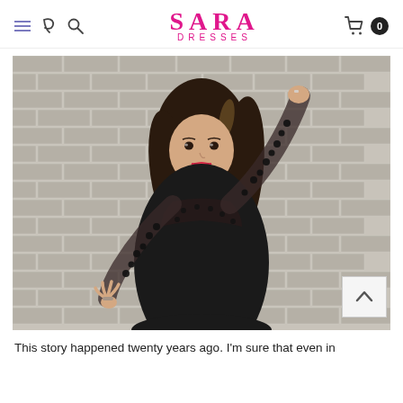SARA DRESSES
[Figure (photo): A young woman with long dark hair wearing a black dress with sheer polka-dot sleeves, posing against a brick wall]
This story happened twenty years ago. I'm sure that even in